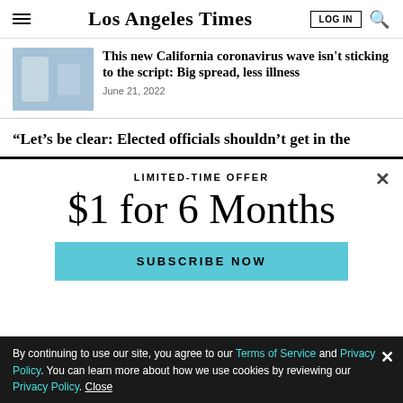Los Angeles Times
This new California coronavirus wave isn't sticking to the script: Big spread, less illness
June 21, 2022
“Let’s be clear: Elected officials shouldn’t get in the
LIMITED-TIME OFFER
$1 for 6 Months
SUBSCRIBE NOW
By continuing to use our site, you agree to our Terms of Service and Privacy Policy. You can learn more about how we use cookies by reviewing our Privacy Policy. Close